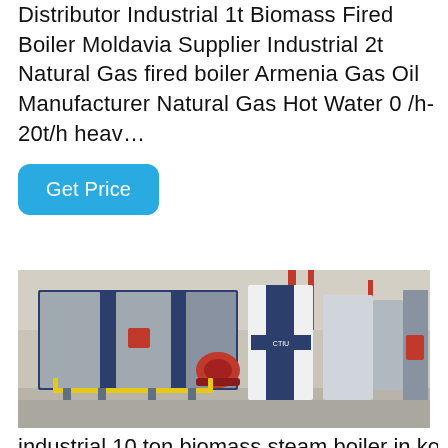Distributor Industrial 1t Biomass Fired Boiler Moldavia Supplier Industrial 2t Natural Gas fired boiler Armenia Gas Oil Manufacturer Natural Gas Hot Water 0 /h-20t/h heav…
Get Price
[Figure (photo): Industrial boiler equipment in a factory setting. Shows several large boilers including a dark navy blue/silver horizontal boiler in the foreground with a red burner/motor assembly, and white vertical boiler units in the background. Yellow piping visible at the bottom. Industrial facility with concrete floor.]
industrial 10 ton biomass steam boiler in korea